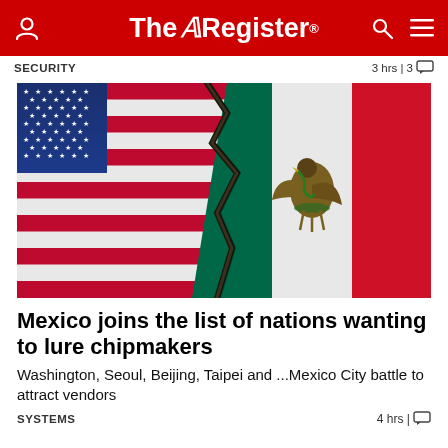The Register
SECURITY  3 hrs | 3 [comments]
[Figure (photo): Composite image of the US flag and Mexican flag merged with a cracked stone texture, symbolizing the US-Mexico relationship in chipmaking.]
Mexico joins the list of nations wanting to lure chipmakers
Washington, Seoul, Beijing, Taipei and ...Mexico City battle to attract vendors
SYSTEMS  4 hrs | [comments]